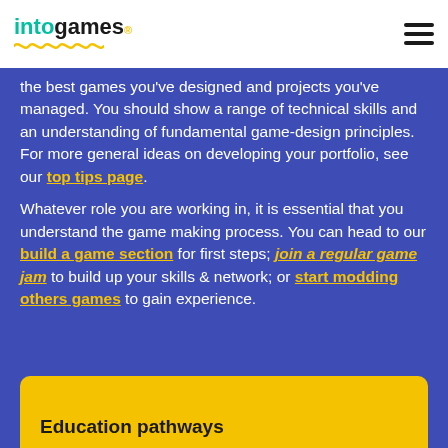intogames
the best games you've designed and projects you've managed. You should show a range of technical skills and an understanding of fundamental game-design principles. For more general ideas on developing your portfolio, see our top tips page.
Whatever role you are working in, it is essential that you understand the game making process. You can head to our build a game section for first steps; join a regular game jam to build up your skills & network; or start modding others games to gain experience.
Education pathways